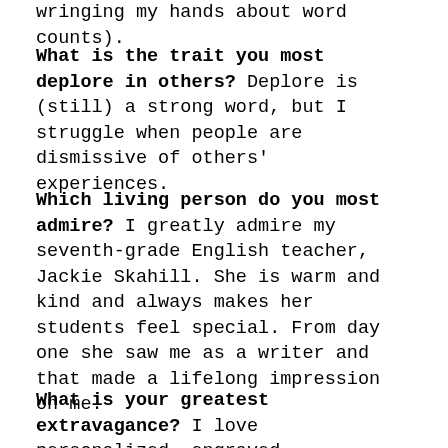wringing my hands about word counts).
What is the trait you most deplore in others? Deplore is (still) a strong word, but I struggle when people are dismissive of others' experiences.
Which living person do you most admire? I greatly admire my seventh-grade English teacher, Jackie Skahill. She is warm and kind and always makes her students feel special. From day one she saw me as a writer and that made a lifelong impression on me.
What is your greatest extravagance? I love personalized, engraved stationery. It's